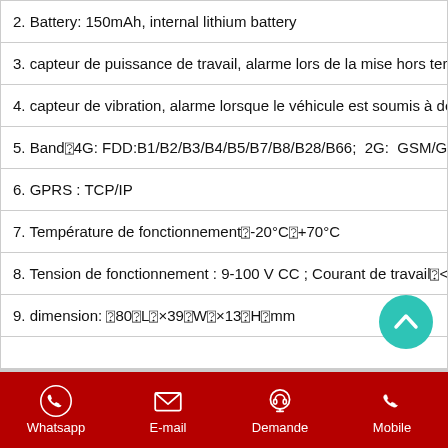| 2. Battery: 150mAh, internal lithium battery |
| 3. capteur de puissance de travail, alarme lors de la mise hors ter… |
| 4. capteur de vibration, alarme lorsque le véhicule est soumis à de… |
| 5. Band‐4G: FDD:B1/B2/B3/B4/B5/B7/B8/B28/B66;  2G:  GSM/G… |
| 6. GPRS : TCP/IP |
| 7. Température de fonctionnement‐-20°C‐+70°C |
| 8. Tension de fonctionnement : 9-100 V CC ; Courant de travail‐<… |
| 9. dimension: ₀80₀L₀×39₀W₀×13₀H₀mm |
Whatsapp | E-mail | Demande | Mobile